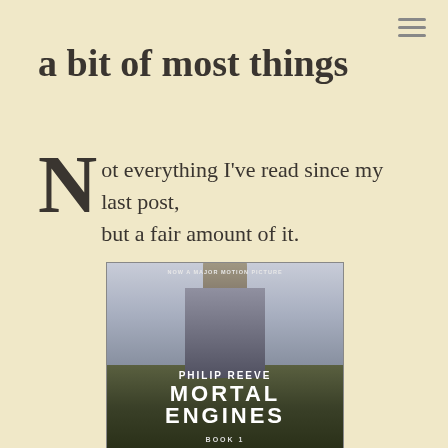a bit of most things
Not everything I've read since my last post, but a fair amount of it.
[Figure (illustration): Book cover of 'Mortal Engines, Book 1' by Philip Reeve. Tagline reads 'NOW A MAJOR MOTION PICTURE'. The cover shows a large mechanical city with a domed building, flying airships, and dark forest in grayscale tones.]